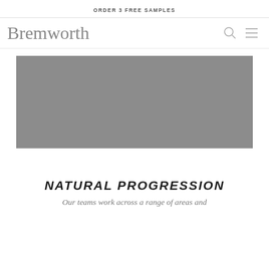ORDER 3 FREE SAMPLES
[Figure (logo): Bremworth logo in cursive script, with search icon and hamburger menu icon on the right]
[Figure (photo): Large gray rectangular placeholder image (hero banner image)]
NATURAL PROGRESSION
Our teams work across a range of areas and